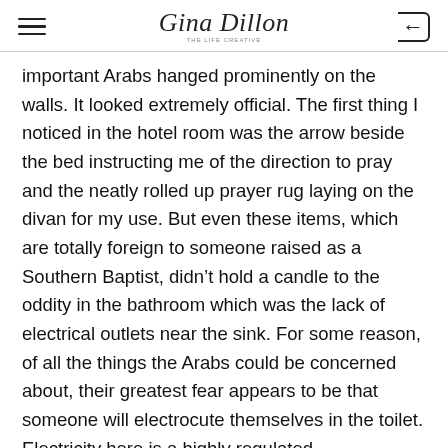Gina Dillon
important Arabs hanged prominently on the walls. It looked extremely official. The first thing I noticed in the hotel room was the arrow beside the bed instructing me of the direction to pray and the neatly rolled up prayer rug laying on the divan for my use. But even these items, which are totally foreign to someone raised as a Southern Baptist, didn't hold a candle to the oddity in the bathroom which was the lack of electrical outlets near the sink. For some reason, of all the things the Arabs could be concerned about, their greatest fear appears to be that someone will electrocute themselves in the toilet. Electricity here is a highly regulated